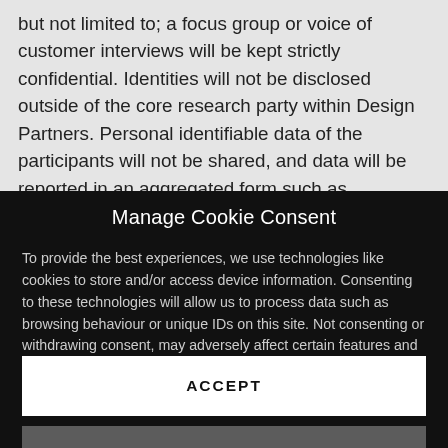but not limited to; a focus group or voice of customer interviews will be kept strictly confidential. Identities will not be disclosed outside of the core research party within Design Partners. Personal identifiable data of the participants will not be shared, and data will be reported in an aggregated form such as anonymisation, to protect anonymity and
Manage Cookie Consent
To provide the best experiences, we use technologies like cookies to store and/or access device information. Consenting to these technologies will allow us to process data such as browsing behaviour or unique IDs on this site. Not consenting or withdrawing consent, may adversely affect certain features and functions.
ACCEPT
VIEW PREFERENCES